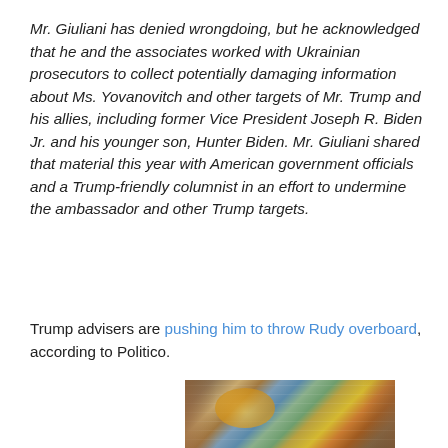Mr. Giuliani has denied wrongdoing, but he acknowledged that he and the associates worked with Ukrainian prosecutors to collect potentially damaging information about Ms. Yovanovitch and other targets of Mr. Trump and his allies, including former Vice President Joseph R. Biden Jr. and his younger son, Hunter Biden. Mr. Giuliani shared that material this year with American government officials and a Trump-friendly columnist in an effort to undermine the ambassador and other Trump targets.
Trump advisers are pushing him to throw Rudy overboard, according to Politico.
[Figure (photo): A partial image showing what appears to be painted or aged wooden panels with blue, yellow, and brown tones visible at the bottom of the page.]